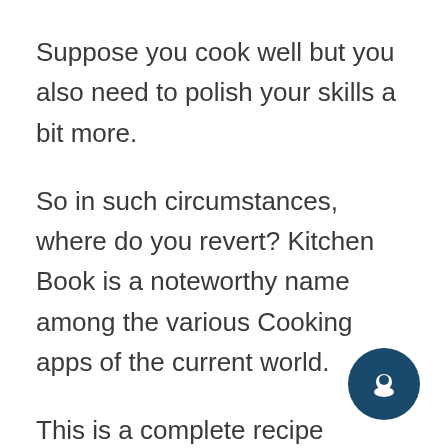Suppose you cook well but you also need to polish your skills a bit more.
So in such circumstances, where do you revert? Kitchen Book is a noteworthy name among the various Cooking apps of the current world.
This is a complete recipe organizer app as here you can search for the best food recipes depending on various catego... You can actually find recipes here that are